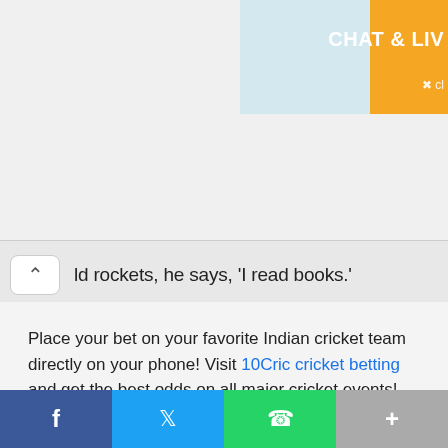[Figure (photo): Advertisement banner with woman on beach and 'CHAT & LIV' text on orange background, partially cut off at right edge]
ld rockets, he says, 'I read books.'
Place your bet on your favorite Indian cricket team directly on your phone! Visit 10Cric cricket betting and get the best odds on all major cricket events!
LATEST NEWS
RUSSIA DECIDES TO TEMPORARILY HALT FUEL SUPPLY THROUGH NORD STREAM ONE